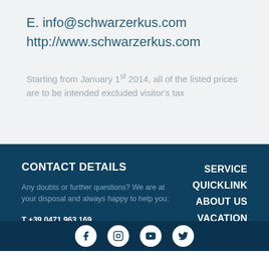E. info@schwarzerkus.com
http://www.schwarzerkus.com
Starting from January 1st 2014, all of the listed prices are to be intended excluded visitor's tax
CONTACT DETAILS
Any doubts or further questions? We are at your disposal and always happy to help you:
T +39 0471 963 169
info@kaltern.com
SERVICE
QUICKLINK
ABOUT US
VACATION
[Figure (infographic): Social media icons: Facebook, Instagram, YouTube, Twitter in white circles on dark background]